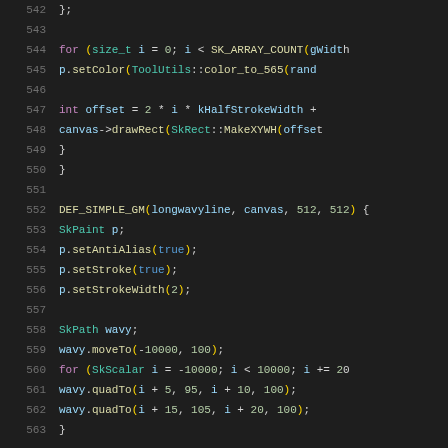Source code listing lines 542-563, C++ code with syntax highlighting showing a for loop, DEF_SIMPLE_GM function, SkPaint and SkPath usage.